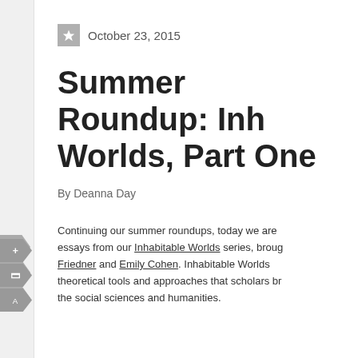October 23, 2015
Summer Roundup: Inhabitable Worlds, Part One
By Deanna Day
Continuing our summer roundups, today we are sharing essays from our Inhabitable Worlds series, brought to you by Friedner and Emily Cohen. Inhabitable Worlds explores theoretical tools and approaches that scholars bring from the social sciences and humanities.